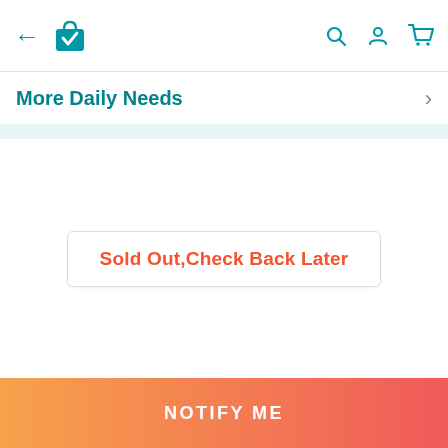[Figure (screenshot): Top navigation bar with back arrow, shopping bag logo with checkmark, search icon, profile icon, and cart icon in teal color]
More Daily Needs
Sold Out,Check Back Later
NOTIFY ME